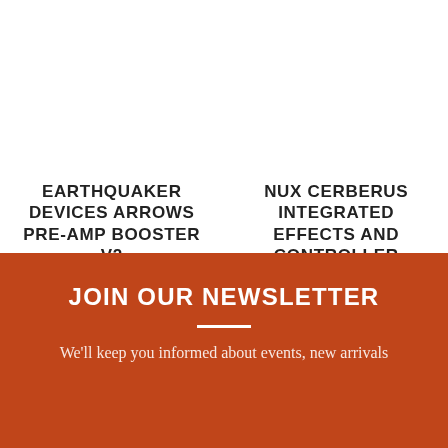EARTHQUAKER DEVICES ARROWS PRE-AMP BOOSTER V2
$109.00
NUX CERBERUS INTEGRATED EFFECTS AND CONTROLLER
$349.00
JOIN OUR NEWSLETTER
We'll keep you informed about events, new arrivals